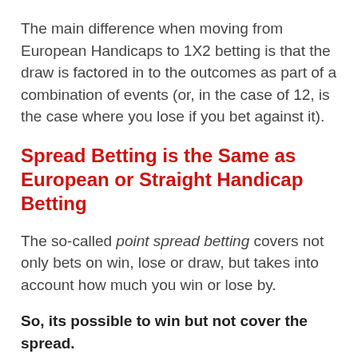The main difference when moving from European Handicaps to 1X2 betting is that the draw is factored in to the outcomes as part of a combination of events (or, in the case of 12, is the case where you lose if you bet against it).
Spread Betting is the Same as European or Straight Handicap Betting
The so-called point spread betting covers not only bets on win, lose or draw, but takes into account how much you win or lose by.
So, its possible to win but not cover the spread.
The “point” to note (ha ha!) is that point spread